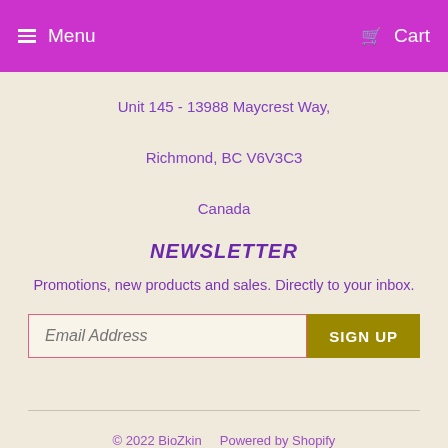Menu   Cart
Unit 145 - 13988 Maycrest Way,
Richmond, BC V6V3C3
Canada
NEWSLETTER
Promotions, new products and sales. Directly to your inbox.
Email Address  SIGN UP
© 2022 BioZkin    Powered by Shopify